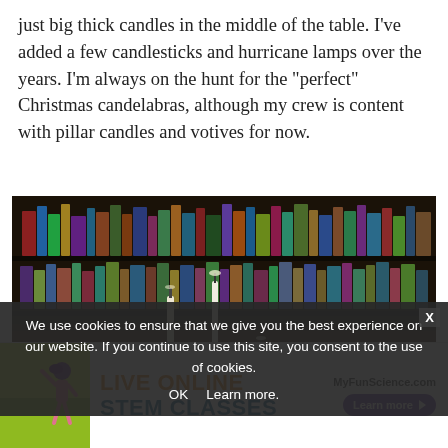just big thick candles in the middle of the table. I’ve added a few candlesticks and hurricane lamps over the years. I’m always on the hunt for the “perfect” Christmas candelabras, although my crew is content with pillar candles and votives for now.
[Figure (photo): A dark wooden dining table with various white pillar candles and votives arranged on a red table runner. A large bookshelf filled with books is visible in the background.]
We use cookies to ensure that we give you the best experience on our website. If you continue to use this site, you consent to the use of cookies.
[Figure (infographic): Advertisement banner for MyFunScience.com featuring Live Online STEM Classes with a Learn more button and decorative figure.]